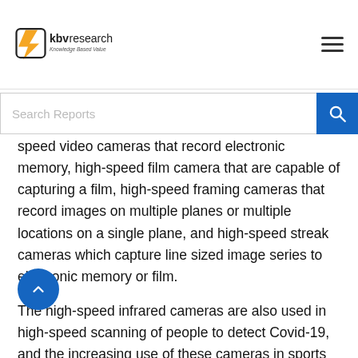KBV Research - Knowledge Based Value
speed video cameras that record electronic memory, high-speed film camera that are capable of capturing a film, high-speed framing cameras that record images on multiple planes or multiple locations on a single plane, and high-speed streak cameras which capture line sized image series to electronic memory or film.
The high-speed infrared cameras are also used in high-speed scanning of people to detect Covid-19, and the increasing use of these cameras in sports industries and entertainment & media, are the major factors boosting the growth of the high-speed camera market. The increased adoption of high-speed infrared cameras and the growing need to support the health of people